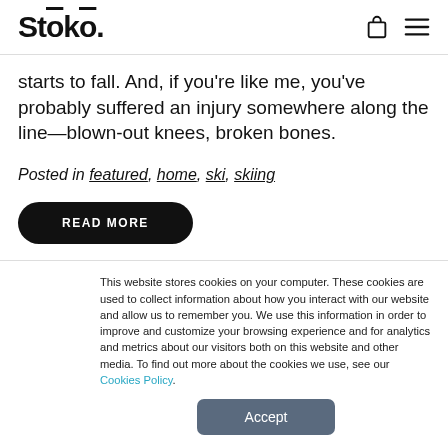Stōkō.
starts to fall. And, if you're like me, you've probably suffered an injury somewhere along the line—blown-out knees, broken bones.
Posted in featured, home, ski, skiing
READ MORE
This website stores cookies on your computer. These cookies are used to collect information about how you interact with our website and allow us to remember you. We use this information in order to improve and customize your browsing experience and for analytics and metrics about our visitors both on this website and other media. To find out more about the cookies we use, see our Cookies Policy.
Accept